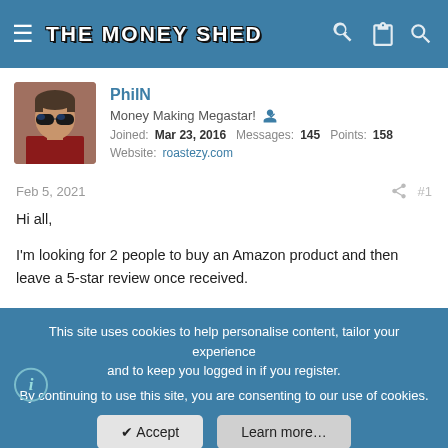THE MONEY SHED
PhilN
Money Making Megastar!
Joined: Mar 23, 2016  Messages: 145  Points: 158
Website: roastezy.com
Feb 5, 2021  #1
Hi all,

I'm looking for 2 people to buy an Amazon product and then leave a 5-star review once received.

You will be sent the cost of the product beforehand via PayPal and will then be sent the £5 once the review has gone live (this can take a few
This site uses cookies to help personalise content, tailor your experience and to keep you logged in if you register.
By continuing to use this site, you are consenting to our use of cookies.
[Accept] [Learn more...]